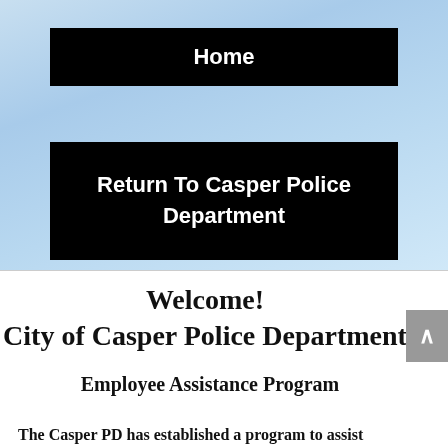Home
Return To Casper Police Department
Welcome!
City of Casper Police Department
Employee Assistance Program
The Casper PD has established a program to assist